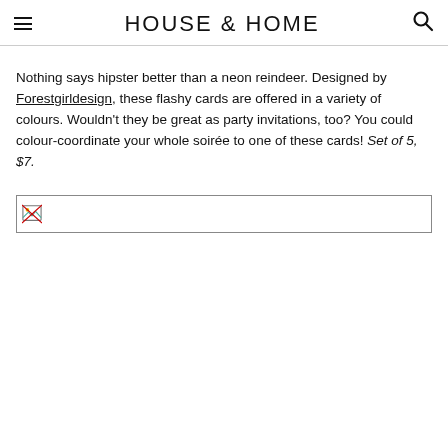HOUSE & HOME
Nothing says hipster better than a neon reindeer. Designed by Forestgirldesign, these flashy cards are offered in a variety of colours. Wouldn't they be great as party invitations, too? You could colour-coordinate your whole soirée to one of these cards! Set of 5, $7.
[Figure (photo): Placeholder image (broken image icon) for a product photo of neon reindeer cards]